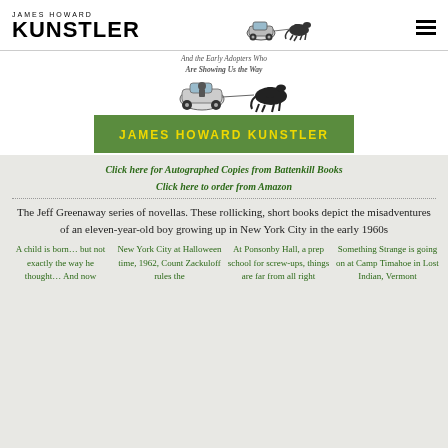JAMES HOWARD KUNSTLER
[Figure (illustration): Banner showing a small car being pulled by a horse illustration, with text 'And the Early Adopters Who Are Showing Us the Way' and a green band with 'JAMES HOWARD KUNSTLER' in yellow letters]
Click here for Autographed Copies from Battenkill Books
Click here to order from Amazon
The Jeff Greenaway series of novellas. These rollicking, short books depict the misadventures of an eleven-year-old boy growing up in New York City in the early 1960s
A child is born… but not exactly the way he thought… And now
New York City at Halloween time, 1962, Count Zackuloff rules the
At Ponsonby Hall, a prep school for screw-ups, things are far from all right
Something Strange is going on at Camp Timahoe in Lost Indian, Vermont